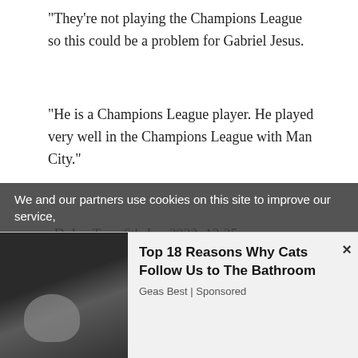"They're not playing the Champions League so this could be a problem for Gabriel Jesus.
"He is a Champions League player. He played very well in the Champions League with Man City."
Dylan Terry6th Jun 2022, 13:25
Arsenal target Isco targeted by Roma
Arsenal target Isco wants to join Jose Mourinho at
We and our partners use cookies on this site to improve our service,
Top 18 Reasons Why Cats Follow Us to The Bathroom
Geas Best | Sponsored